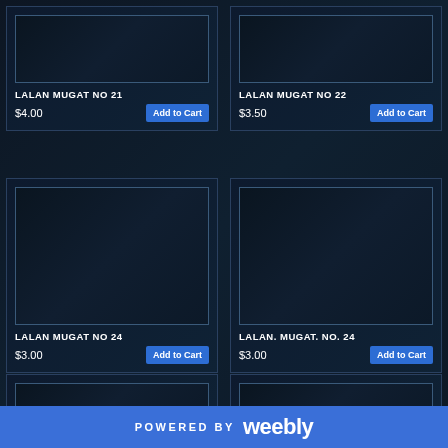[Figure (screenshot): E-commerce product listing page with dark blue background showing product cards in a 2-column grid]
LALAN MUGAT NO 21
$4.00
Add to Cart
LALAN MUGAT NO 22
$3.50
Add to Cart
LALAN MUGAT NO 24
$3.00
Add to Cart
LALAN. MUGAT. NO. 24
$3.00
Add to Cart
POWERED BY weebly